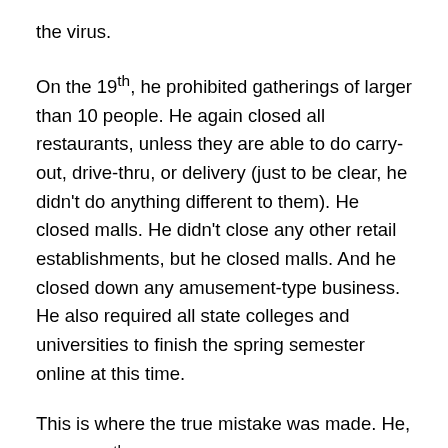the virus.
On the 19th, he prohibited gatherings of larger than 10 people. He again closed all restaurants, unless they are able to do carry-out, drive-thru, or delivery (just to be clear, he didn't do anything different to them). He closed malls. He didn't close any other retail establishments, but he closed malls. And he closed down any amusement-type business. He also required all state colleges and universities to finish the spring semester online at this time.
This is where the true mistake was made. He, on the 19th, allowed delivery and carry-out of alcohol. How, on any earth, is that essential?!?!  He has immediately turned from someone I had respect for to someone who is now starting to gaslight for the purpose of keeping the lobbyists